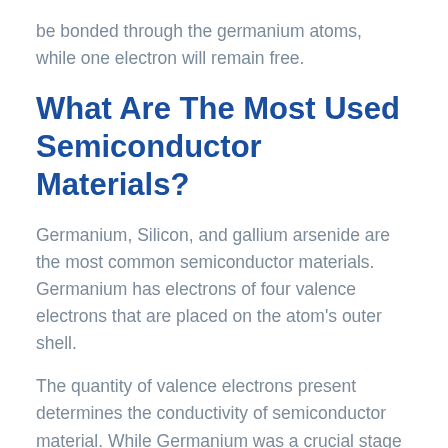be bonded through the germanium atoms, while one electron will remain free.
What Are The Most Used Semiconductor Materials?
Germanium, Silicon, and gallium arsenide are the most common semiconductor materials. Germanium has electrons of four valence electrons that are placed on the atom's outer shell.
The quantity of valence electrons present determines the conductivity of semiconductor material. While Germanium was a crucial stage in the history of semiconductor materials, it has mostly fallen out of favor with Silicon, the most